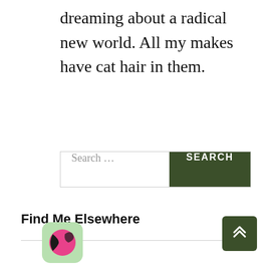dreaming about a radical new world. All my makes have cat hair in them.
[Figure (other): Search bar with text field showing 'Search …' placeholder and a dark green SEARCH button]
Find Me Elsewhere
[Figure (logo): Round app icon with pink/magenta and dark curved design on light green background]
[Figure (other): Dark green scroll-to-top button with double chevron up arrows]